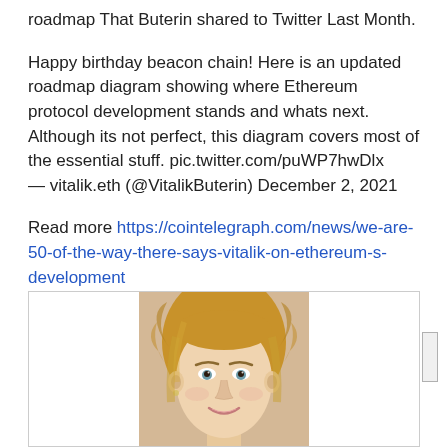roadmap That Buterin shared to Twitter Last Month.
Happy birthday beacon chain! Here is an updated roadmap diagram showing where Ethereum protocol development stands and whats next. Although its not perfect, this diagram covers most of the essential stuff. pic.twitter.com/puWP7hwDlx
— vitalik.eth (@VitalikButerin) December 2, 2021
Read more https://cointelegraph.com/news/we-are-50-of-the-way-there-says-vitalik-on-ethereum-s-development
[Figure (photo): A young woman with curly blonde hair, smiling, portrait photo inside a bordered box]